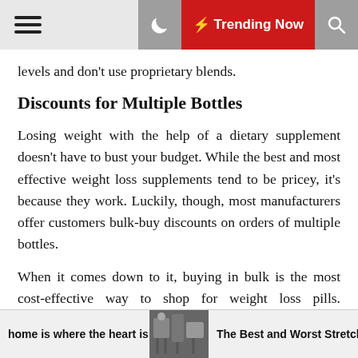☰  ☽  ⚡ Trending Now  🔍
levels and don't use proprietary blends.
Discounts for Multiple Bottles
Losing weight with the help of a dietary supplement doesn't have to bust your budget. While the best and most effective weight loss supplements tend to be pricey, it's because they work. Luckily, though, most manufacturers offer customers bulk-buy discounts on orders of multiple bottles.
When it comes down to it, buying in bulk is the most cost-effective way to shop for weight loss pills. Remember, you need to continue taking diet pills to maintain the effects, so saving up and purchasing multiple bottles at once makes more sense. In addition, some manufacturers also offer a discount on auto-
home is where the heart is  |  [image]  |  The Best and Worst Stretches You, According to Fitness Tra